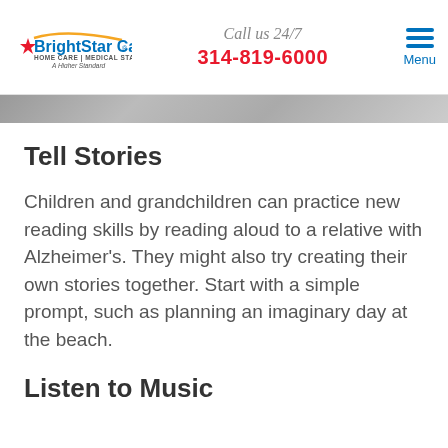BrightStar Care HOME CARE | MEDICAL STAFFING A Higher Standard — Call us 24/7 314-819-6000 — Menu
Tell Stories
Children and grandchildren can practice new reading skills by reading aloud to a relative with Alzheimer's. They might also try creating their own stories together. Start with a simple prompt, such as planning an imaginary day at the beach.
Listen to Music